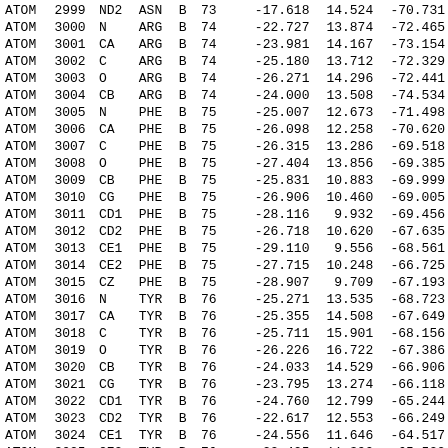| type | serial | name | res | chain | seq |  | x | y | z |
| --- | --- | --- | --- | --- | --- | --- | --- | --- | --- |
| ATOM | 2999 | ND2 | ASN | B | 73 |  | -17.618 | 14.524 | -70.731 |
| ATOM | 3000 | N | ARG | B | 74 |  | -22.727 | 13.874 | -72.465 |
| ATOM | 3001 | CA | ARG | B | 74 |  | -23.981 | 14.167 | -73.154 |
| ATOM | 3002 | C | ARG | B | 74 |  | -25.180 | 13.712 | -72.329 |
| ATOM | 3003 | O | ARG | B | 74 |  | -26.271 | 14.296 | -72.441 |
| ATOM | 3004 | CB | ARG | B | 74 |  | -24.000 | 13.508 | -74.534 |
| ATOM | 3005 | N | PHE | B | 75 |  | -25.007 | 12.673 | -71.498 |
| ATOM | 3006 | CA | PHE | B | 75 |  | -26.098 | 12.258 | -70.620 |
| ATOM | 3007 | C | PHE | B | 75 |  | -26.315 | 13.286 | -69.518 |
| ATOM | 3008 | O | PHE | B | 75 |  | -27.404 | 13.856 | -69.385 |
| ATOM | 3009 | CB | PHE | B | 75 |  | -25.831 | 10.883 | -69.999 |
| ATOM | 3010 | CG | PHE | B | 75 |  | -26.906 | 10.460 | -69.005 |
| ATOM | 3011 | CD1 | PHE | B | 75 |  | -28.116 | 9.932 | -69.456 |
| ATOM | 3012 | CD2 | PHE | B | 75 |  | -26.718 | 10.620 | -67.635 |
| ATOM | 3013 | CE1 | PHE | B | 75 |  | -29.110 | 9.556 | -68.561 |
| ATOM | 3014 | CE2 | PHE | B | 75 |  | -27.715 | 10.248 | -66.725 |
| ATOM | 3015 | CZ | PHE | B | 75 |  | -28.907 | 9.709 | -67.193 |
| ATOM | 3016 | N | TYR | B | 76 |  | -25.271 | 13.535 | -68.723 |
| ATOM | 3017 | CA | TYR | B | 76 |  | -25.355 | 14.508 | -67.649 |
| ATOM | 3018 | C | TYR | B | 76 |  | -25.711 | 15.901 | -68.156 |
| ATOM | 3019 | O | TYR | B | 76 |  | -26.226 | 16.722 | -67.386 |
| ATOM | 3020 | CB | TYR | B | 76 |  | -24.033 | 14.529 | -66.906 |
| ATOM | 3021 | CG | TYR | B | 76 |  | -23.795 | 13.274 | -66.118 |
| ATOM | 3022 | CD1 | TYR | B | 76 |  | -24.760 | 12.799 | -65.244 |
| ATOM | 3023 | CD2 | TYR | B | 76 |  | -22.617 | 12.553 | -66.249 |
| ATOM | 3024 | CE1 | TYR | B | 76 |  | -24.556 | 11.646 | -64.517 |
| ATOM | 3025 | CE2 | TYR | B | 76 |  | -22.405 | 11.390 | -65.522 |
| ATOM | 3026 | CZ | TYR | B | 76 |  | -23.378 | 10.953 | -64.652 |
| ATOM | 3027 | OH | TYR | B | 76 |  | -23.203 | 9.809 | -63.914 |
| ATOM | 3028 | N | THR | B | 77 |  | -25.487 | 16.183 | -69.440 |